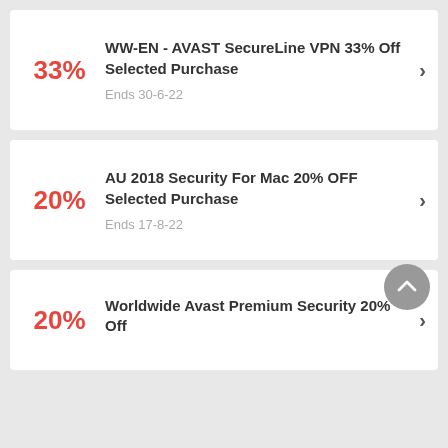33% WW-EN - AVAST SecureLine VPN 33% Off Selected Purchase Ends 30-6-22
20% AU 2018 Security For Mac 20% OFF Selected Purchase Ends 17-8-22
20% Worldwide Avast Premium Security 20% Off